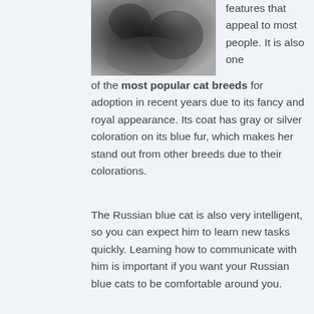[Figure (photo): Close-up black and white photo of a Russian Blue cat's face/fur]
features that appeal to most people. It is also one of the most popular cat breeds for adoption in recent years due to its fancy and royal appearance. Its coat has gray or silver coloration on its blue fur, which makes her stand out from other breeds due to their colorations.
The Russian blue cat is also very intelligent, so you can expect him to learn new tasks quickly. Learning how to communicate with him is important if you want your Russian blue cats to be comfortable around you.